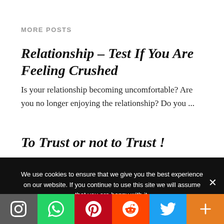MORE POSTS
Relationship – Test If You Are Feeling Crushed
Is your relationship becoming uncomfortable? Are you no longer enjoying the relationship? Do you ...
To Trust or not to Trust !
Trust is something we learn as very small babies. We trust the first
We use cookies to ensure that we give you the best experience on our website. If you continue to use this site we will assume that you are happy with it.